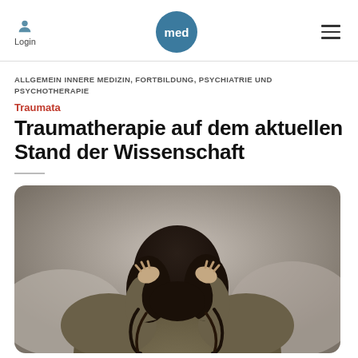Login | med | ≡
ALLGEMEIN INNERE MEDIZIN, FORTBILDUNG, PSYCHIATRIE UND PSYCHOTHERAPIE
Traumata
Traumatherapie auf dem aktuellen Stand der Wissenschaft
[Figure (photo): Person seen from behind with curly dark hair, hands gripping hair on the back of their head, wearing an olive/khaki long-sleeve sweater, seated against a grey sofa. Conveys distress or emotional pain.]